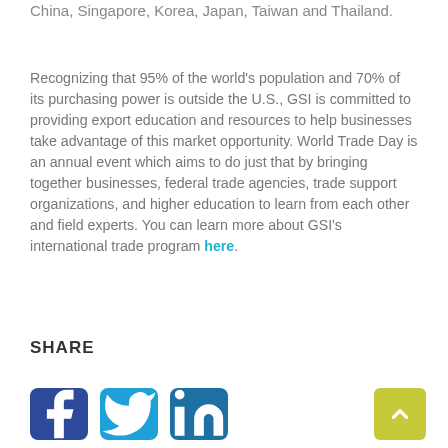China, Singapore, Korea, Japan, Taiwan and Thailand.
Recognizing that 95% of the world's population and 70% of its purchasing power is outside the U.S., GSI is committed to providing export education and resources to help businesses take advantage of this market opportunity. World Trade Day is an annual event which aims to do just that by bringing together businesses, federal trade agencies, trade support organizations, and higher education to learn from each other and field experts. You can learn more about GSI's international trade program here.
SHARE